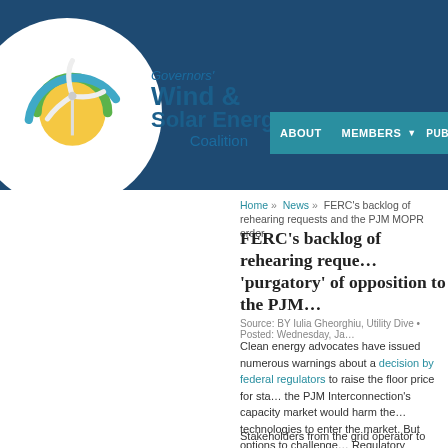[Figure (logo): Governors' Wind & Solar Energy Coalition logo with circular emblem featuring wind turbine, sun, and green/blue arcs]
ABOUT   MEMBERS   PUB
Home » News » FERC's backlog of rehearing requests and the PJM MOPR order
FERC's backlog of rehearing requests and the 'purgatory' of opposition to the PJM MOPR order
Source: BY Iulia Gheorghiu, Utility Dive • Posted: Wednesday, Ja
Clean energy advocates have issued numerous warnings about a decision by federal regulators to raise the floor price for state-supported clean energy technologies in the PJM Interconnection's capacity market would harm those technologies to enter the market. But options to challenge the Federal Energy Regulatory Commission in court are extremely limited.
Stakeholders from the grid operator to confectioner Hersh